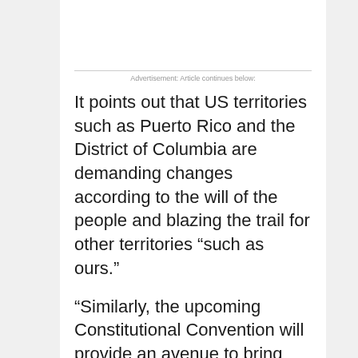Advertisement: Article continues below:
It points out that US territories such as Puerto Rico and the District of Columbia are demanding changes according to the will of the people and blazing the trail for other territories “such as ours.”
“Similarly, the upcoming Constitutional Convention will provide an avenue to bring these discussions to the forefront and communicate the will of our leaders and community,” it said and points out that in collaboration with the local Department of Education, plans are in place to incorporate civics lesson plans into secondary and community college